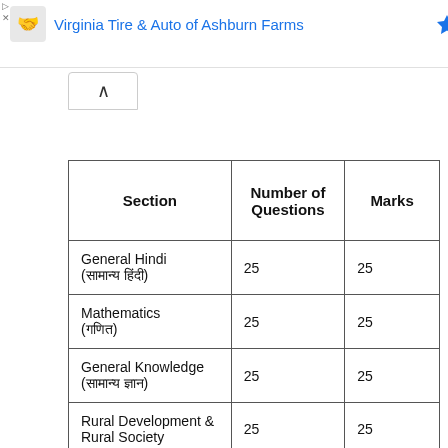Virginia Tire & Auto of Ashburn Farms
| Section | Number of Questions | Marks |
| --- | --- | --- |
| General Hindi (सामान्य हिंदी) | 25 | 25 |
| Mathematics (गणित) | 25 | 25 |
| General Knowledge (सामान्य ज्ञान) | 25 | 25 |
| Rural Development & Rural Society | 25 | 25 |